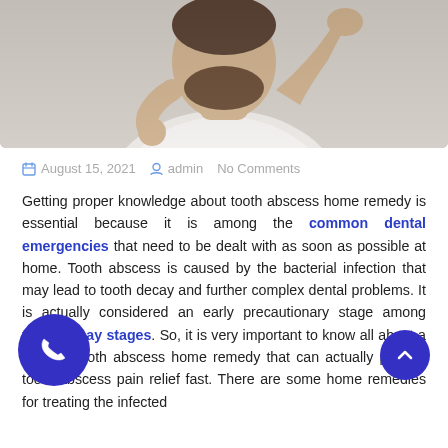[Figure (photo): Man in white t-shirt scratching his jaw/chin area, possibly showing dental pain, photographed against a light gray background]
August 15, 2021  admin  No Comments
Getting proper knowledge about tooth abscess home remedy is essential because it is among the common dental emergencies that need to be dealt with as soon as possible at home. Tooth abscess is caused by the bacterial infection that may lead to tooth decay and further complex dental problems. It is actually considered an early precautionary stage among tooth decay stages. So, it is very important to know all about a specific tooth abscess home remedy that can actually provide tooth abscess pain relief fast. There are some home remedies for treating the infected...